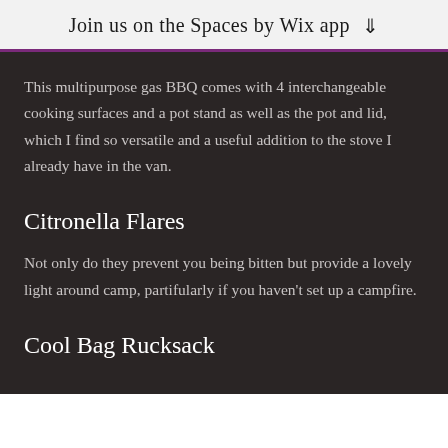Join us on the Spaces by Wix app
This multipurpose gas BBQ comes with 4 interchangeable cooking surfaces and a pot stand as well as the pot and lid, which I find so versatile and a useful addition to the stove I already have in the van.
Citronella Flares
Not only do they prevent you being bitten but provide a lovely light around camp, partifularly if you haven't set up a campfire.
Cool Bag Rucksack